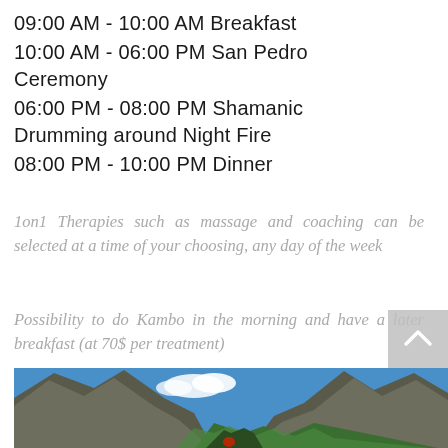09:00 AM - 10:00 AM Breakfast
10:00 AM - 06:00 PM San Pedro Ceremony
06:00 PM - 08:00 PM Shamanic Drumming around Night Fire
08:00 PM - 10:00 PM Dinner
1on1 Therapies such as massage and coaching can be selected at a time of your choosing, any day of the week
Possibility to do Kambo in the morning and have a later breakfast (at 70$ per treatment)
[Figure (photo): Mountain landscape with a deep valley between rocky peaks under a blue sky with clouds, with people kayaking or walking at the bottom]